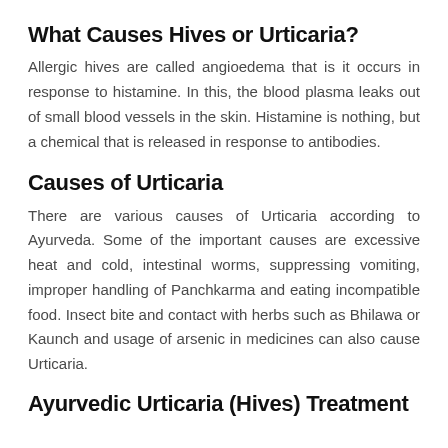What Causes Hives or Urticaria?
Allergic hives are called angioedema that is it occurs in response to histamine. In this, the blood plasma leaks out of small blood vessels in the skin. Histamine is nothing, but a chemical that is released in response to antibodies.
Causes of Urticaria
There are various causes of Urticaria according to Ayurveda. Some of the important causes are excessive heat and cold, intestinal worms, suppressing vomiting, improper handling of Panchkarma and eating incompatible food. Insect bite and contact with herbs such as Bhilawa or Kaunch and usage of arsenic in medicines can also cause Urticaria.
Ayurvedic Urticaria (Hives) Treatment